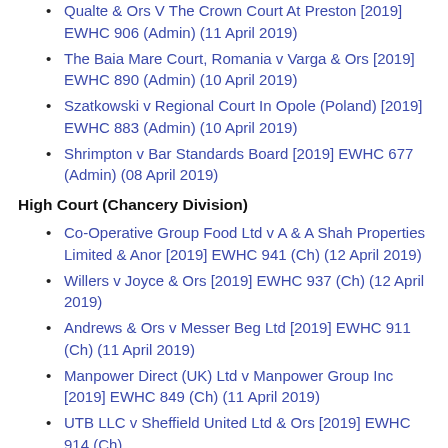Qualte & Ors V The Crown Court At Preston [2019] EWHC 906 (Admin) (11 April 2019)
The Baia Mare Court, Romania v Varga & Ors [2019] EWHC 890 (Admin) (10 April 2019)
Szatkowski v Regional Court In Opole (Poland) [2019] EWHC 883 (Admin) (10 April 2019)
Shrimpton v Bar Standards Board [2019] EWHC 677 (Admin) (08 April 2019)
High Court (Chancery Division)
Co-Operative Group Food Ltd v A & A Shah Properties Limited & Anor [2019] EWHC 941 (Ch) (12 April 2019)
Willers v Joyce & Ors [2019] EWHC 937 (Ch) (12 April 2019)
Andrews & Ors v Messer Beg Ltd [2019] EWHC 911 (Ch) (11 April 2019)
Manpower Direct (UK) Ltd v Manpower Group Inc [2019] EWHC 849 (Ch) (11 April 2019)
UTB LLC v Sheffield United Ltd & Ors [2019] EWHC 914 (Ch)